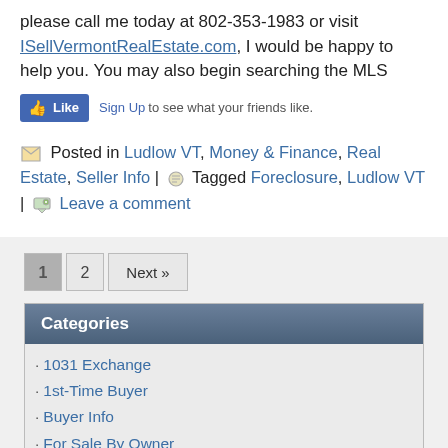please call me today at 802-353-1983 or visit ISellVermontRealEstate.com, I would be happy to help you. You may also begin searching the MLS
[Figure (screenshot): Facebook Like button widget with Sign Up link and text 'to see what your friends like.']
Posted in Ludlow VT, Money & Finance, Real Estate, Seller Info | Tagged Foreclosure, Ludlow VT | Leave a comment
Pagination: 1, 2, Next »
Categories
1031 Exchange
1st-Time Buyer
Buyer Info
For Sale By Owner
Green/Environment
Investment Property